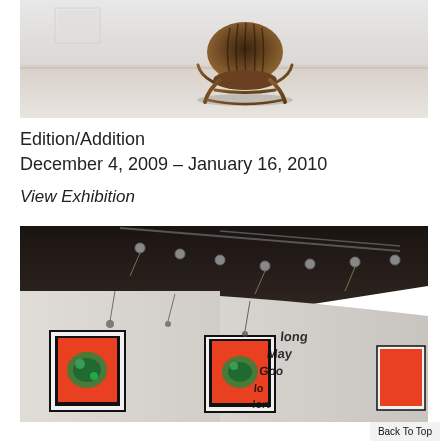[Figure (photo): Gallery installation photo showing a wooden/rattan chair with dark organic-form backrest on a white gallery floor, with framed artwork on the wall in the background.]
Edition/Addition
December 4, 2009 – January 16, 2010
View Exhibition
[Figure (photo): Gallery installation photo showing a white gallery space with dark exposed ceiling and track lighting. Framed artworks with colorful red and green imagery hang on the left wall, and large black typographic text is painted or applied directly to the curved right wall.]
Back To Top